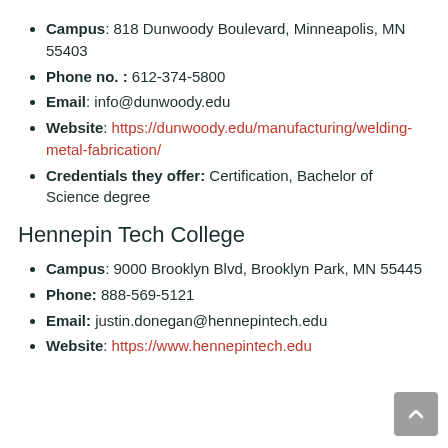Campus: 818 Dunwoody Boulevard, Minneapolis, MN 55403
Phone no. : 612-374-5800
Email: info@dunwoody.edu
Website: https://dunwoody.edu/manufacturing/welding-metal-fabrication/
Credentials they offer: Certification, Bachelor of Science degree
Hennepin Tech College
Campus: 9000 Brooklyn Blvd, Brooklyn Park, MN 55445
Phone: 888-569-5121
Email: justin.donegan@hennepintech.edu
Website: https://www.hennepintech.edu